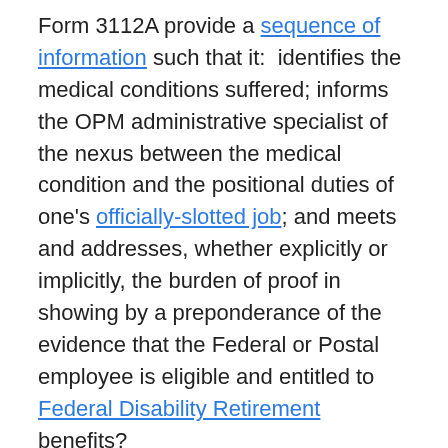Form 3112A provide a sequence of information such that it: identifies the medical conditions suffered; informs the OPM administrative specialist of the nexus between the medical condition and the positional duties of one's officially-slotted job; and meets and addresses, whether explicitly or implicitly, the burden of proof in showing by a preponderance of the evidence that the Federal or Postal employee is eligible and entitled to Federal Disability Retirement benefits?
To all three questions, the answer is in the affirmative. For, preparing and formulating a Federal Disability Retirement application, submitted through one's agency (if the Federal or Postal employee is still employed with the Federal agency or the U.S. Postal Service or, if separated from service, not more than 31 days since the date of separation) and then to the U.S. Office of Personnel